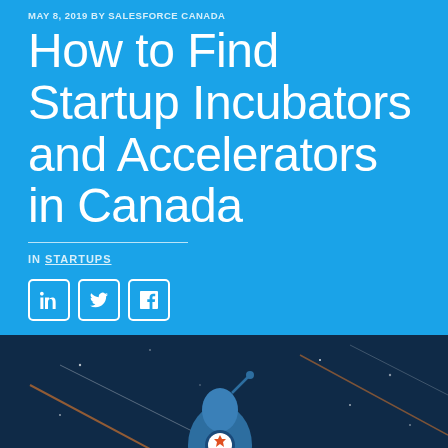MAY 8, 2019 BY SALESFORCE CANADA
How to Find Startup Incubators and Accelerators in Canada
IN STARTUPS
[Figure (illustration): Illustration of a rocket with a Canadian maple leaf badge flying through a dark blue starry sky with orange and white streaks]
[Figure (other): Social media share buttons: LinkedIn, Twitter, Facebook]